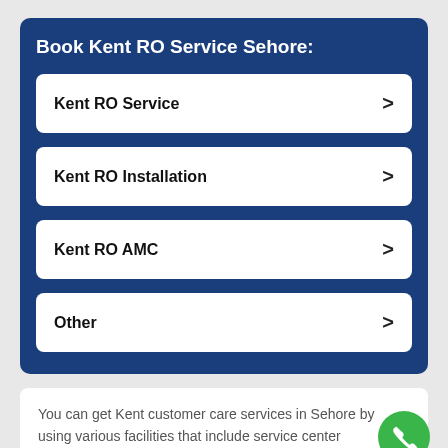Book Kent RO Service Sehore:
Kent RO Service
Kent RO Installation
Kent RO AMC
Other
You can get Kent customer care services in Sehore by using various facilities that include service center